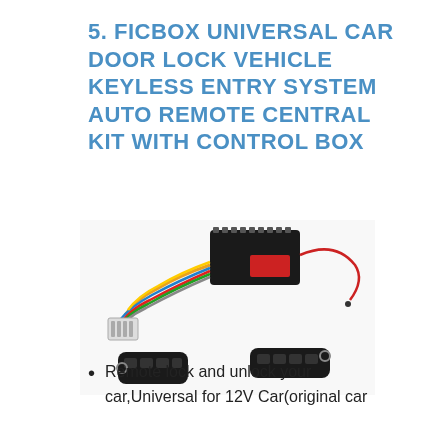5. FICBOX UNIVERSAL CAR DOOR LOCK VEHICLE KEYLESS ENTRY SYSTEM AUTO REMOTE CENTRAL KIT WITH CONTROL BOX
[Figure (photo): Photo of a car keyless entry kit including a black control box with wiring harness, two black remote key fobs with buttons and key rings, and a red antenna wire.]
Remote lock and unlock your car,Universal for 12V Car(original car